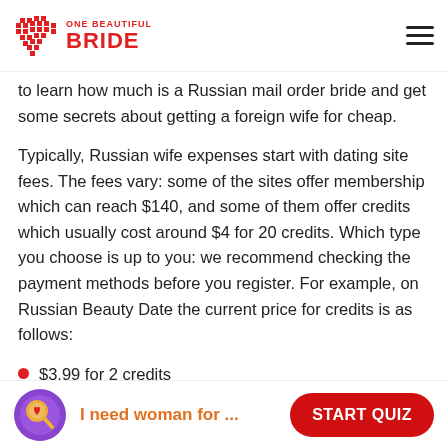ONE BEAUTIFUL BRIDE
to learn how much is a Russian mail order bride and get some secrets about getting a foreign wife for cheap.
Typically, Russian wife expenses start with dating site fees. The fees vary: some of the sites offer membership which can reach $140, and some of them offer credits which usually cost around $4 for 20 credits. Which type you choose is up to you: we recommend checking the payment methods before you register. For example, on Russian Beauty Date the current price for credits is as follows:
$3.99 for 2 credits
$96 for 16 credits
I need woman for ... START QUIZ